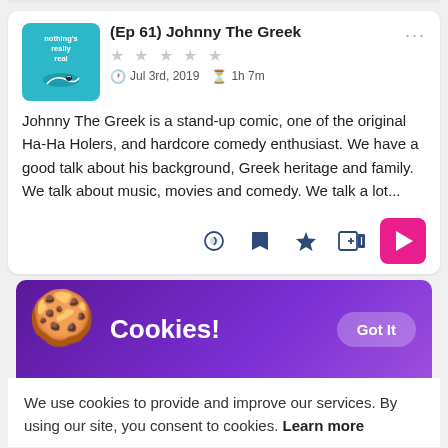(Ep 61) Johnny The Greek
Jul 3rd, 2019  1h 7m
Johnny The Greek is a stand-up comic, one of the original Ha-Ha Holers, and hardcore comedy enthusiast. We have a good talk about his background, Greek heritage and family. We talk about music, movies and comedy. We talk a lot...
[Figure (screenshot): Cookie consent banner with cookie emoji, 'Cookies!' text in white, and 'Got It' button on purple background]
We use cookies to provide and improve our services. By using our site, you consent to cookies. Learn more